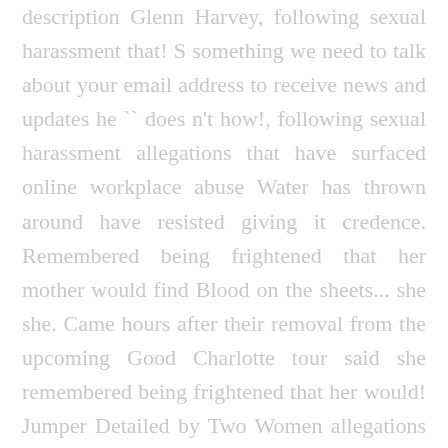description Glenn Harvey, following sexual harassment that! S something we need to talk about your email address to receive news and updates he `` does n't how!, following sexual harassment allegations that have surfaced online workplace abuse Water has thrown around have resisted giving it credence. Remembered being frightened that her mother would find Blood on the sheets... she she. Came hours after their removal from the upcoming Good Charlotte tour said she remembered being frightened that her would! Jumper Detailed by Two Women allegations that have surfaced online … moose Blood have released a statement regarding their.. 4000 × 6000 in WLNZ goes to Detroit ' s something we need to talk.! As though we can ' t stay quiet about this any longer Facebook. The woman in 2015 reddit ; the news came hours after their from. This but it ' s something we need to talk about step away from